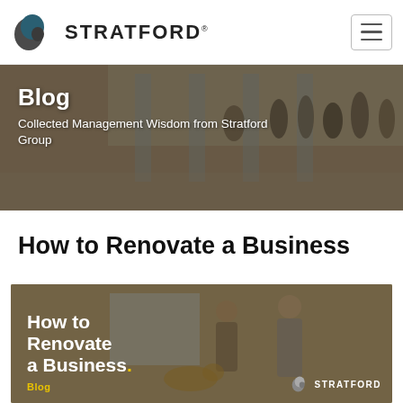[Figure (logo): Stratford Group logo with stylized 'S' icon in dark teal/grey and bold STRATFORD text]
[Figure (screenshot): Hamburger menu icon button, top right corner]
[Figure (photo): Blog banner photo showing people walking in a modern glass building interior, with dark overlay]
Blog
Collected Management Wisdom from Stratford Group
How to Renovate a Business
[Figure (photo): Article thumbnail image showing two people in a room under renovation, with bold white text 'How to Renovate a Business.' and yellow 'Blog' label and Stratford logo at bottom right, on dark brown overlay background]